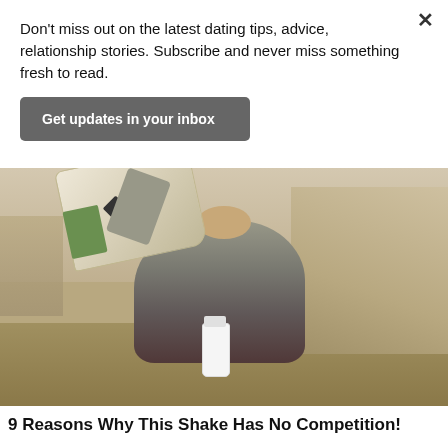Don't miss out on the latest dating tips, advice, relationship stories. Subscribe and never miss something fresh to read.
Get updates in your inbox
[Figure (photo): Woman crouching outdoors on rocky terrain, holding up a branded bag/protein powder bag, with a white water bottle on the ground beside her, rocky cliffs in background.]
9 Reasons Why This Shake Has No Competition!